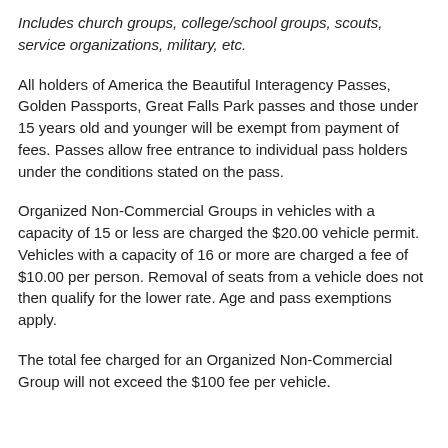Includes church groups, college/school groups, scouts, service organizations, military, etc.
All holders of America the Beautiful Interagency Passes, Golden Passports, Great Falls Park passes and those under 15 years old and younger will be exempt from payment of fees. Passes allow free entrance to individual pass holders under the conditions stated on the pass.
Organized Non-Commercial Groups in vehicles with a capacity of 15 or less are charged the $20.00 vehicle permit. Vehicles with a capacity of 16 or more are charged a fee of $10.00 per person. Removal of seats from a vehicle does not then qualify for the lower rate. Age and pass exemptions apply.
The total fee charged for an Organized Non-Commercial Group will not exceed the $100 fee per vehicle.